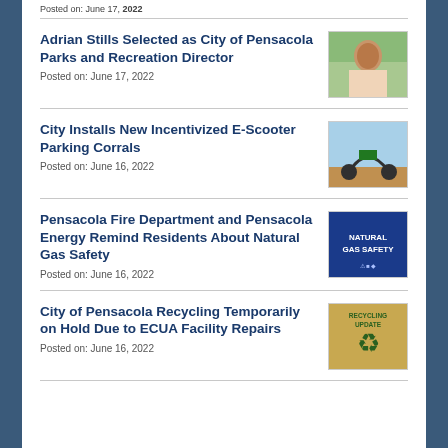Posted on: June 17, 2022
Adrian Stills Selected as City of Pensacola Parks and Recreation Director
Posted on: June 17, 2022
City Installs New Incentivized E-Scooter Parking Corrals
Posted on: June 16, 2022
Pensacola Fire Department and Pensacola Energy Remind Residents About Natural Gas Safety
Posted on: June 16, 2022
City of Pensacola Recycling Temporarily on Hold Due to ECUA Facility Repairs
Posted on: June 16, 2022